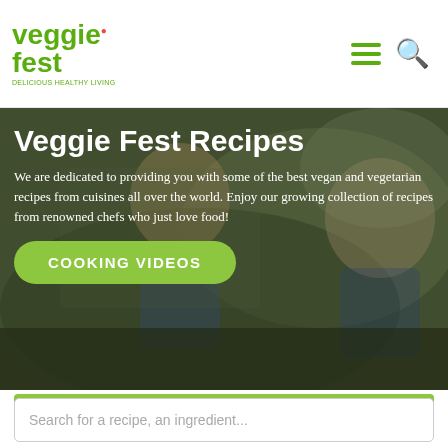veggie fest — navigation header with logo, hamburger menu, and search icon
Veggie Fest Recipes
We are dedicated to providing you with some of the best vegan and vegetarian recipes from cuisines all over the world. Enjoy our growing collection of recipes from renowned chefs who just love food!
[Figure (screenshot): Hero background image of children cooking in a kitchen, wearing chef hats]
COOKING VIDEOS
Asian and Thai
Search for a recipe, an ingredient...